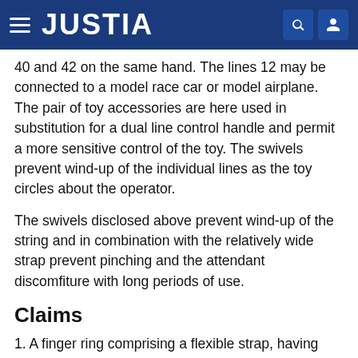JUSTIA
40 and 42 on the same hand. The lines 12 may be connected to a model race car or model airplane. The pair of toy accessories are here used in substitution for a dual line control handle and permit a more sensitive control of the toy. The swivels prevent wind-up of the individual lines as the toy circles about the operator.
The swivels disclosed above prevent wind-up of the string and in combination with the relatively wide strap prevent pinching and the attendant discomfiture with long periods of use.
Claims
1. A finger ring comprising a flexible strap, having first and second portions, one of said portions having a plurality of hooks and the other portion having a